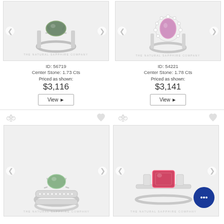[Figure (photo): Green gemstone solitaire ring on white background, The Natural Sapphire Company watermark]
[Figure (photo): Pink/purple halo gemstone ring on white background, The Natural Sapphire Company watermark]
ID: 56719
Center Stone: 1.73 Cts
Priced as shown:
$3,116
View ▶
ID: 54221
Center Stone: 1.78 Cts
Priced as shown:
$3,141
View ▶
[Figure (photo): Green gemstone ring with diamond band on white background, The Natural Sapphire Company watermark]
[Figure (photo): Red/pink gemstone three-stone ring on white background with chat bubble icon]